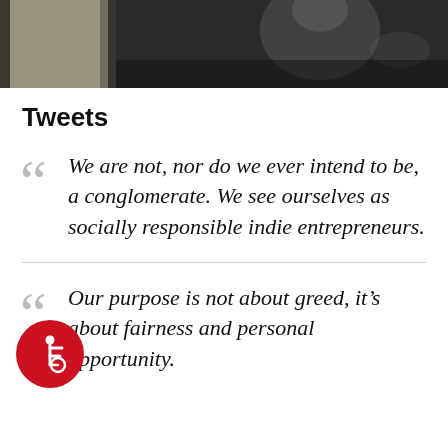[Figure (photo): A person photographed on a dark background, upper body visible, partial view of paper or document on left side.]
Tweets
We are not, nor do we ever intend to be, a conglomerate. We see ourselves as socially responsible indie entrepreneurs.
Our purpose is not about greed, it’s about fairness and personal opportunity.
[Figure (illustration): Red circular accessibility (wheelchair) icon badge]